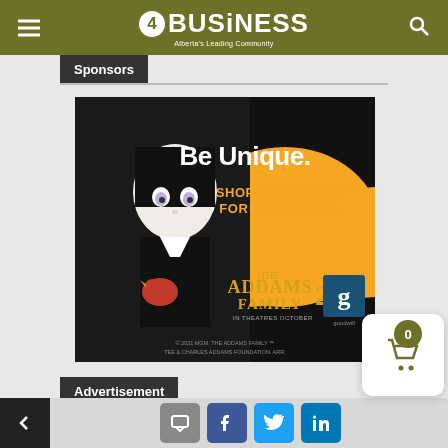4BUSiNESS - Alberta's Leading Community
Sponsors
[Figure (illustration): Goodwill advertisement for Halloween featuring Wednesday Addams character from The Addams Family 2 animated movie. Text reads 'Be Unique. SHOP GOODWILL FOR HALLOWEEN'. Shows Addams Family 2 movie logo and Goodwill logo. Copyright notice: 2021 MGM. THE ADDAMS FAMILY TM TEE & CHARLES ADDAMS FOUNDATION. ARR.]
Advertisement
Navigation bar with back button, comment, Facebook, Twitter, LinkedIn icons, and cart with 0 items